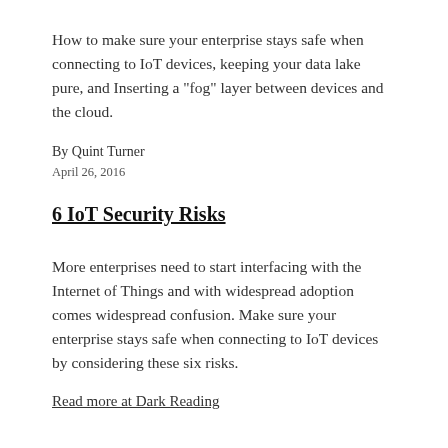How to make sure your enterprise stays safe when connecting to IoT devices, keeping your data lake pure, and Inserting a "fog" layer between devices and the cloud.
By Quint Turner
April 26, 2016
6 IoT Security Risks
More enterprises need to start interfacing with the Internet of Things and with widespread adoption comes widespread confusion. Make sure your enterprise stays safe when connecting to IoT devices by considering these six risks.
Read more at Dark Reading